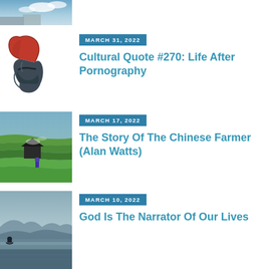[Figure (photo): Top cropped photo showing sky and landscape]
[Figure (illustration): Red and dark Spartan/Roman warrior helmet logo]
MARCH 31, 2022
Cultural Quote #270: Life After Pornography
[Figure (photo): Green terraced rice fields with a dark hut and person]
MARCH 17, 2022
The Story Of The Chinese Farmer (Alan Watts)
[Figure (photo): Person sitting by a lake with mountains and mist in background]
MARCH 10, 2022
God Is The Narrator Of Our Lives